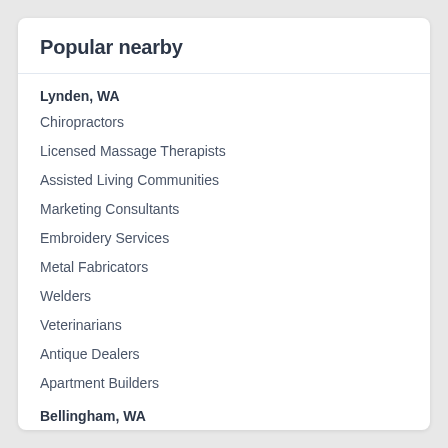Popular nearby
Lynden, WA
Chiropractors
Licensed Massage Therapists
Assisted Living Communities
Marketing Consultants
Embroidery Services
Metal Fabricators
Welders
Veterinarians
Antique Dealers
Apartment Builders
Bellingham, WA
Heating Contractors